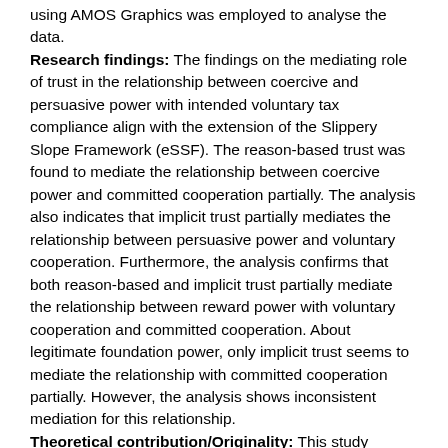using AMOS Graphics was employed to analyse the data. Research findings: The findings on the mediating role of trust in the relationship between coercive and persuasive power with intended voluntary tax compliance align with the extension of the Slippery Slope Framework (eSSF). The reason-based trust was found to mediate the relationship between coercive power and committed cooperation partially. The analysis also indicates that implicit trust partially mediates the relationship between persuasive power and voluntary cooperation. Furthermore, the analysis confirms that both reason-based and implicit trust partially mediate the relationship between reward power with voluntary cooperation and committed cooperation. About legitimate foundation power, only implicit trust seems to mediate the relationship with committed cooperation partially. However, the analysis shows inconsistent mediation for this relationship. Theoretical contribution/Originality: This study highlights the importance of tax administrators' power, especially reward and persuasive power, as means to instil trust in tax administrators